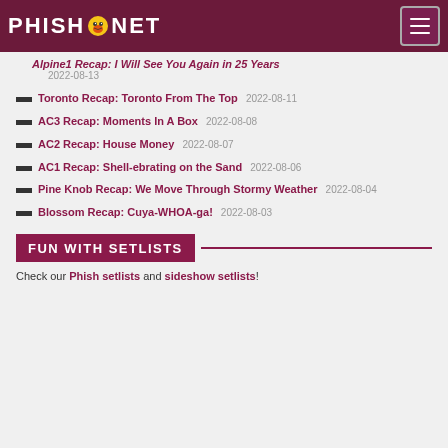PHISH.NET
Alpine1 Recap: I Will See You Again in 25 Years 2022-08-13
Toronto Recap: Toronto From The Top 2022-08-11
AC3 Recap: Moments In A Box 2022-08-08
AC2 Recap: House Money 2022-08-07
AC1 Recap: Shell-ebrating on the Sand 2022-08-06
Pine Knob Recap: We Move Through Stormy Weather 2022-08-04
Blossom Recap: Cuya-WHOA-ga! 2022-08-03
FUN WITH SETLISTS
Check our Phish setlists and sideshow setlists!